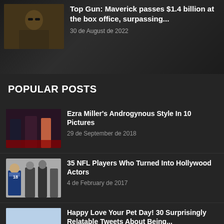Top Gun: Maverick passes $1.4 billion at the box office, surpassing...
30 de August de 2022
POPULAR POSTS
Ezra Miller's Androgynous Style In 10 Pictures
29 de September de 2018
35 NFL Players Who Turned Into Hollywood Actors
4 de February de 2017
Happy Love Your Pet Day! 30 Surprisingly Relatable Tweets About Being...
20 de February de 2018